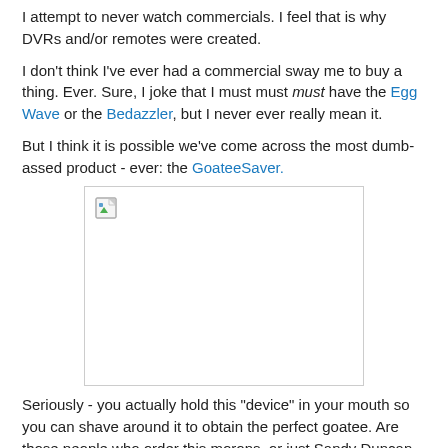I attempt to never watch commercials. I feel that is why DVRs and/or remotes were created.
I don't think I've ever had a commercial sway me to buy a thing. Ever. Sure, I joke that I must must must have the Egg Wave or the Bedazzler, but I never ever really mean it.
But I think it is possible we've come across the most dumb-assed product - ever: the GoateeSaver.
[Figure (photo): Broken/missing image placeholder for GoateeSaver product photo]
Seriously - you actually hold this "device" in your mouth so you can shave around it to obtain the perfect goatee. Are those people who order this morons, or just Sandy Duncan